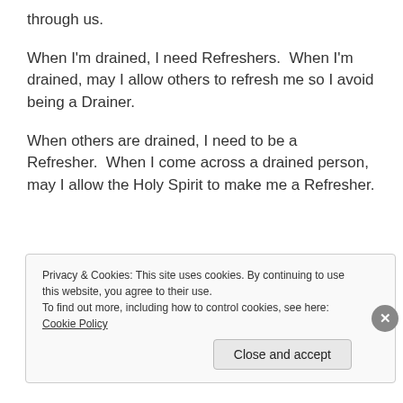through us.
When I'm drained, I need Refreshers.  When I'm drained, may I allow others to refresh me so I avoid being a Drainer.
When others are drained, I need to be a Refresher.  When I come across a drained person, may I allow the Holy Spirit to make me a Refresher.
Privacy & Cookies: This site uses cookies. By continuing to use this website, you agree to their use. To find out more, including how to control cookies, see here: Cookie Policy
Close and accept